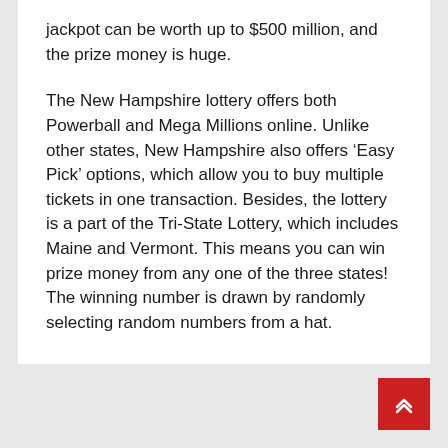jackpot can be worth up to $500 million, and the prize money is huge.
The New Hampshire lottery offers both Powerball and Mega Millions online. Unlike other states, New Hampshire also offers ‘Easy Pick’ options, which allow you to buy multiple tickets in one transaction. Besides, the lottery is a part of the Tri-State Lottery, which includes Maine and Vermont. This means you can win prize money from any one of the three states! The winning number is drawn by randomly selecting random numbers from a hat.